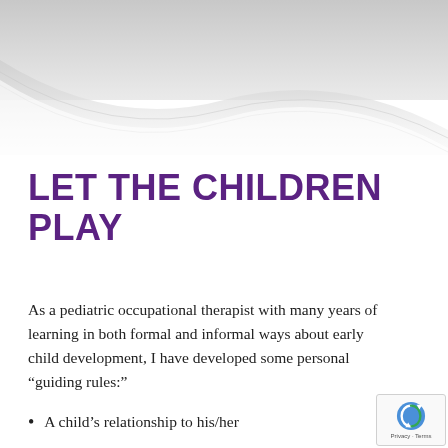[Figure (illustration): Decorative header graphic with a light grey curved swooping design on white/light grey background]
LET THE CHILDREN PLAY
As a pediatric occupational therapist with many years of learning in both formal and informal ways about early child development, I have developed some personal “guiding rules:”
A child’s relationship to his/her